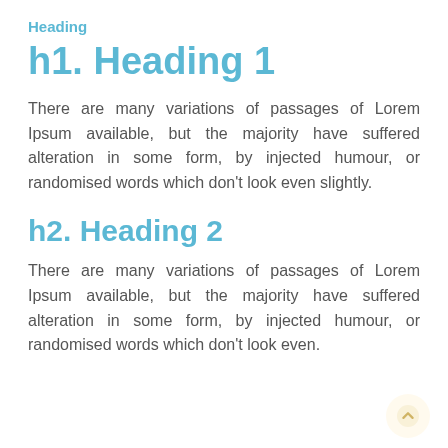Heading
h1. Heading 1
There are many variations of passages of Lorem Ipsum available, but the majority have suffered alteration in some form, by injected humour, or randomised words which don't look even slightly.
h2. Heading 2
There are many variations of passages of Lorem Ipsum available, but the majority have suffered alteration in some form, by injected humour, or randomised words which don't look even.